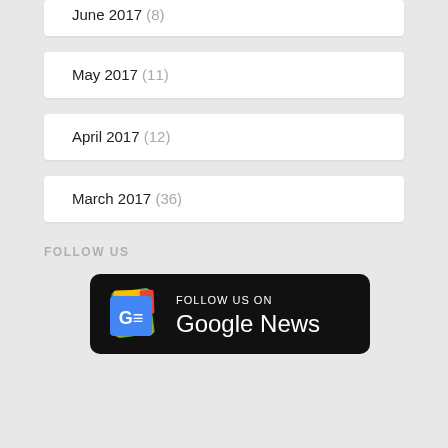June 2017 (8)
May 2017 (11)
April 2017 (12)
March 2017 (36)
FOLLOW US
[Figure (logo): Follow us on Google News badge — black rounded rectangle with Google News icon and text 'FOLLOW US ON Google News']